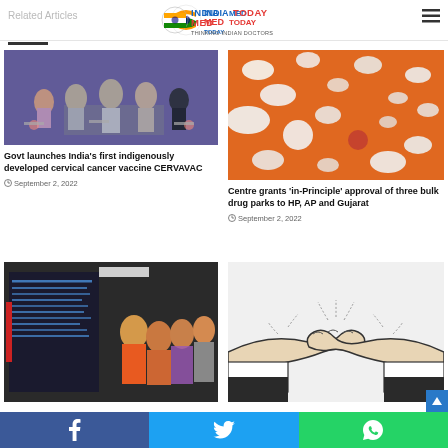Related Articles — INDIA MED TODAY
[Figure (photo): Group of officials on stage at a government event, with blue curtain backdrop]
Govt launches India’s first indigenously developed cervical cancer vaccine CERVAVAC
September 2, 2022
[Figure (photo): Pills and capsules scattered on an orange background]
Centre grants ‘in-Principle’ approval of three bulk drug parks to HP, AP and Gujarat
September 2, 2022
[Figure (photo): Officials at what appears to be an inauguration ceremony looking at a board]
[Figure (illustration): Handshake illustration in black and white sketch style]
f  t  WhatsApp social share buttons